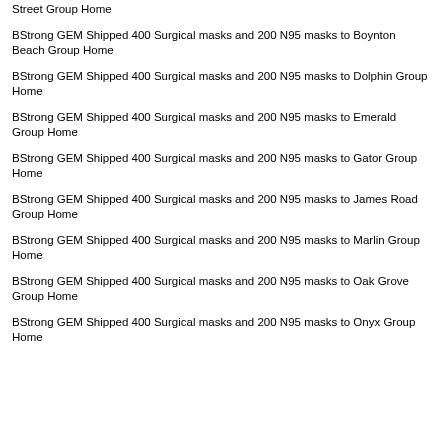Street Group Home
BStrong GEM Shipped 400 Surgical masks and 200 N95 masks to Boynton Beach Group Home
BStrong GEM Shipped 400 Surgical masks and 200 N95 masks to Dolphin Group Home
BStrong GEM Shipped 400 Surgical masks and 200 N95 masks to Emerald Group Home
BStrong GEM Shipped 400 Surgical masks and 200 N95 masks to Gator Group Home
BStrong GEM Shipped 400 Surgical masks and 200 N95 masks to James Road Group Home
BStrong GEM Shipped 400 Surgical masks and 200 N95 masks to Marlin Group Home
BStrong GEM Shipped 400 Surgical masks and 200 N95 masks to Oak Grove Group Home
BStrong GEM Shipped 400 Surgical masks and 200 N95 masks to Onyx Group Home